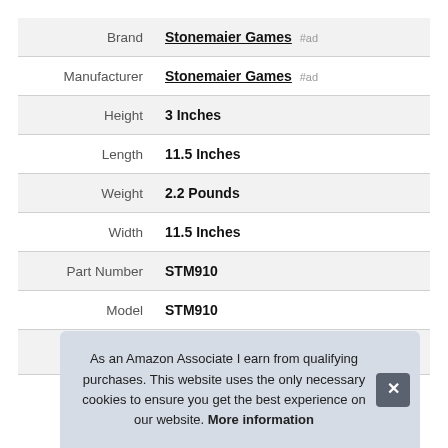| Attribute | Value |
| --- | --- |
| Brand | Stonemaier Games #ad |
| Manufacturer | Stonemaier Games #ad |
| Height | 3 Inches |
| Length | 11.5 Inches |
| Weight | 2.2 Pounds |
| Width | 11.5 Inches |
| Part Number | STM910 |
| Model | STM910 |
As an Amazon Associate I earn from qualifying purchases. This website uses the only necessary cookies to ensure you get the best experience on our website. More information